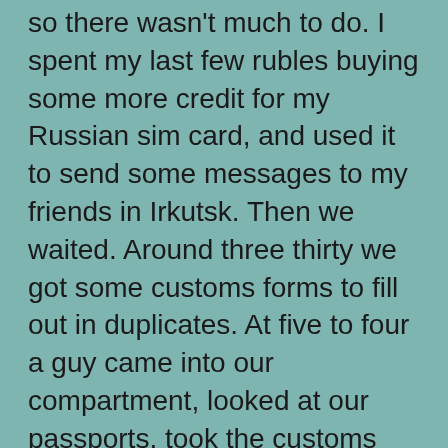so there wasn't much to do. I spent my last few rubles buying some more credit for my Russian sim card, and used it to send some messages to my friends in Irkutsk. Then we waited. Around three thirty we got some customs forms to fill out in duplicates. At five to four a guy came into our compartment, looked at our passports, took the customs forms, stamped them, gave one back, and left again. A while later, another guy came in, got our passports, and trotted off with them. After more waiting, first one, then two more people searched our compartment. I couldn't say what they were looking for, because they didn't even touch our